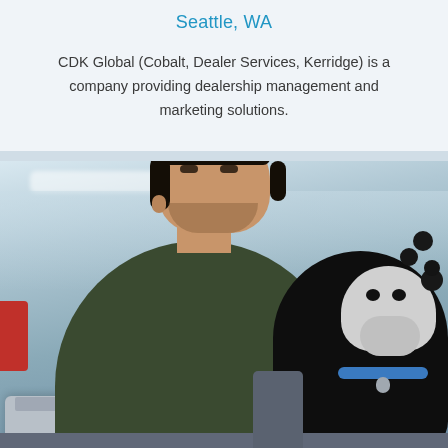Seattle, WA
CDK Global (Cobalt, Dealer Services, Kerridge) is a company providing dealership management and marketing solutions.
[Figure (photo): A man in a dark green sweater sitting on a sofa with a laptop, looking at a black and white curly-haired dog that is looking up at him, in a modern bright office environment.]